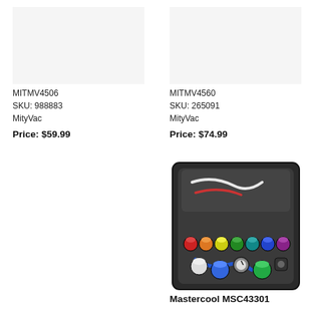MITMV4506
SKU: 988883
MityVac
Price: $59.99
MITMV4560
SKU: 265091
MityVac
Price: $74.99
[Figure (photo): Mastercool MSC43301 tool kit in open black carrying case with colorful fittings and hoses]
Mastercool MSC43014
Mastercool MSC43301